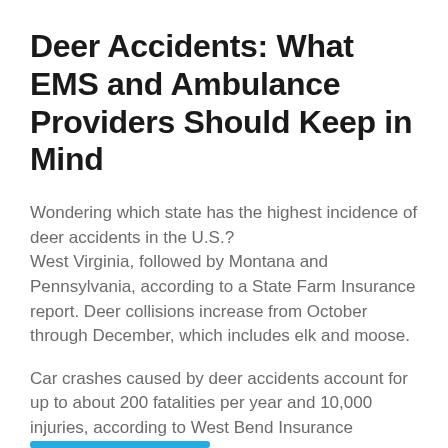Deer Accidents: What EMS and Ambulance Providers Should Keep in Mind
Wondering which state has the highest incidence of deer accidents in the U.S.? West Virginia, followed by Montana and Pennsylvania, according to a State Farm Insurance report. Deer collisions increase from October through December, which includes elk and moose.
Car crashes caused by deer accidents account for up to about 200 fatalities per year and 10,000 injuries, according to West Bend Insurance Divisions.